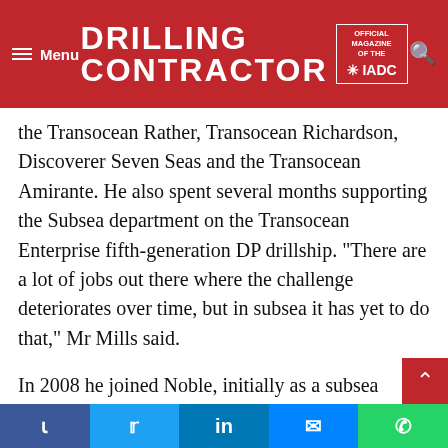DRILLING CONTRACTOR — OFFICIAL MAGAZINE OF THE IADC
with Transocean, where he was eventually promoted. As a Subsea Superintendent for over a decade, he would oversee subsea operations on several vessels — the Transocean Rather, Transocean Richardson, Discoverer Seven Seas and the Transocean Amirante. He also spent several months supporting the Subsea department on the Transocean Enterprise fifth-generation DP drillship. "There are a lot of jobs out there where the challenge deteriorates over time, but in subsea it has yet to do that," Mr Mills said.
In 2008 he joined Noble, initially as a subsea superintendent, providing support for eight rigs in the Gulf of Mexico. Key responsibilities included ensuring that all necessary equipment was onboard the rigs, overseeing equipment repairs and working
Facebook | Twitter | LinkedIn | Messenger | WhatsApp